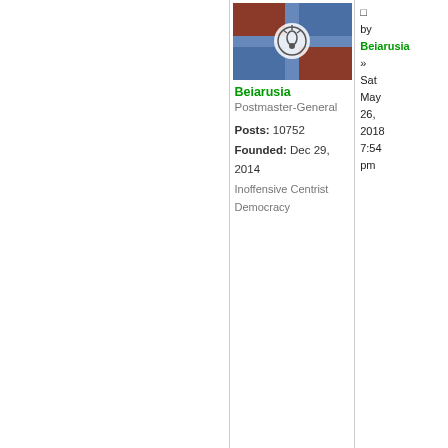[Figure (photo): User avatar/flag image for Beiarusia — a flag with red and blue sections and a circular emblem in the center]
Beiarusia
Postmaster-General
Posts: 10752
Founded: Dec 29, 2014
Inoffensive Centrist Democracy
by Beiarusia » Sat May 26, 2018 7:54 pm